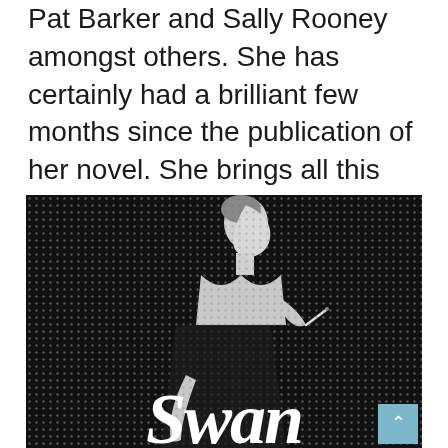Pat Barker and Sally Rooney amongst others. She has certainly had a brilliant few months since the publication of her novel. She brings all this and a desire to see other debut novelists thrive to the Fiction Festival this Saturday.
[Figure (illustration): Black and white halftone-style book cover image showing a woman in a black dress holding a cigarette, looking upward, with the title 'Swan' in large serif italic text at the bottom. A teal scroll-to-top button appears in the lower right corner.]